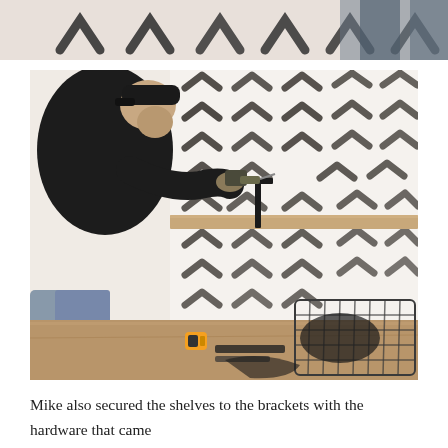[Figure (photo): Partial top photo showing a person near a wall with black chevron/arrow brush stroke pattern wallpaper — cropped at bottom of frame]
[Figure (photo): Man wearing a black cap and jacket using a drill to install a wooden shelf bracket on a white wall covered with black painted chevron/arrow brush stroke pattern. A wire basket and tools sit on a wood surface in the lower right corner.]
Mike also secured the shelves to the brackets with the hardware that came